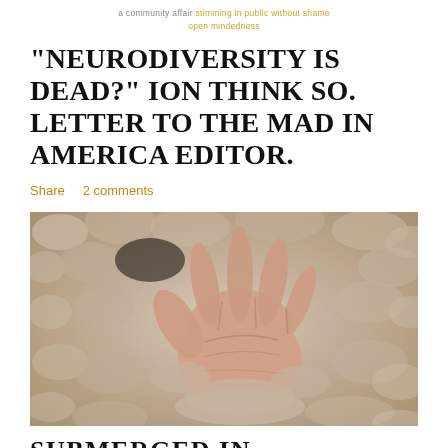a community affair stimming in public without shame
open mindedness
“NEURODIVERSITY IS DEAD?” ION THINK SO. LETTER TO THE MAD IN AMERICA EDITOR.
Share   2 comments
[Figure (photo): A human hand emerging from or submerged in sandy, textured quicksand or sand surface, fingers spread wide, photographed from above.]
SUBMERGED IN QUICKSAND